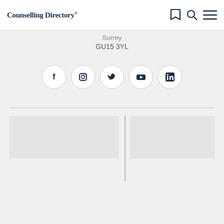Counselling Directory
Surrey
GU15 3YL
[Figure (other): Social media icons row: Facebook, Instagram, Twitter, YouTube, LinkedIn — each inside a circular bordered button]
[Figure (other): Content placeholder area below a horizontal divider, with a vertical line separating two columns]